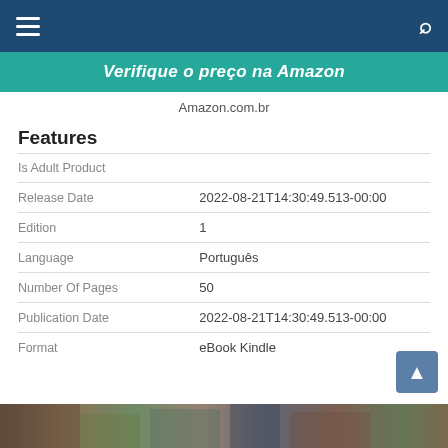Navigation bar with hamburger menu and search icon
Verifique o preço na Amazon
Amazon.com.br
Features
|  |  |
| --- | --- |
| Is Adult Product |  |
| Release Date | 2022-08-21T14:30:49.513-00:00 |
| Edition | 1 |
| Language | Português |
| Number Of Pages | 50 |
| Publication Date | 2022-08-21T14:30:49.513-00:00 |
| Format | eBook Kindle |
[Figure (photo): Partial bottom image of a landscape or scene, partially visible at the bottom of the page]